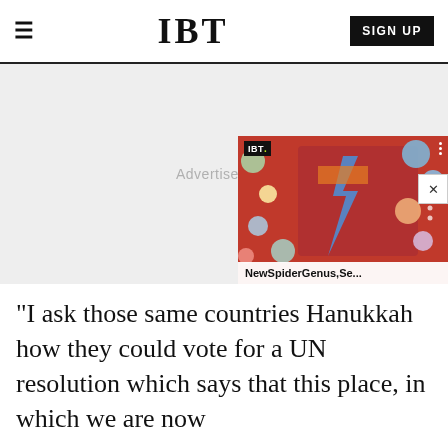IBT
[Figure (screenshot): IBT website navigation bar with hamburger menu, IBT logo, and SIGN UP button]
[Figure (photo): Advertisement placeholder area with a video overlay showing IBT logo, colorful thumbnail with face mosaic/circles artwork, and title 'NewSpiderGenus,Se...' with close button X]
"I ask those same countries [visible text, rest obscured] Hanukkah how they could vote for a UN resolution which says that this place, in which we are now